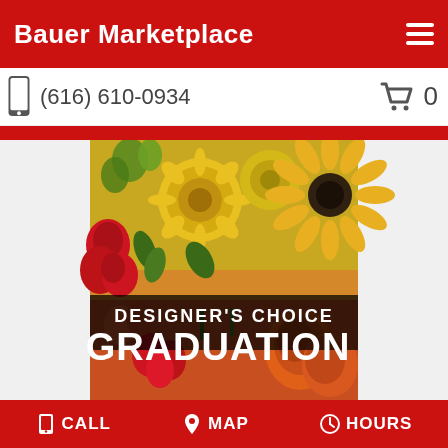Bauer Marketplace
(616) 610-0934
[Figure (photo): A colorful flower arrangement featuring yellow gerbera daisies, red roses, orange lilies, and green accents. Overlaid text reads 'DESIGNER'S CHOICE GRADUATION' in white bold letters on a dark semi-transparent background.]
CALL  MAP  HOURS